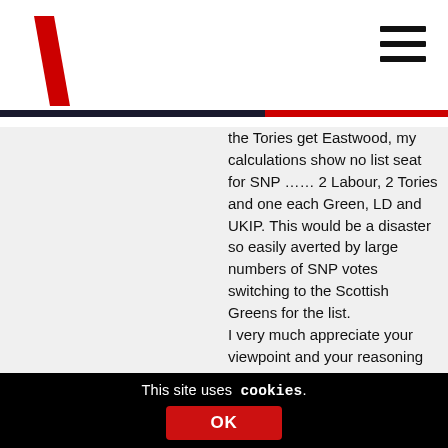Wings Over Scotland — navigation header with logo and hamburger menu
the Tories get Eastwood, my calculations show no list seat for SNP …… 2 Labour, 2 Tories and one each Green, LD and UKIP. This would be a disaster so easily averted by large numbers of SNP votes switching to the Scottish Greens for the list.
I very much appreciate your viewpoint and your reasoning based on actual workings
Thank you
John
This site uses cookies. OK